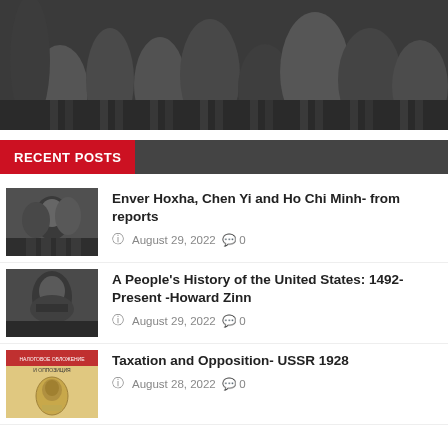[Figure (photo): Black and white historical photograph showing a crowd of people]
RECENT POSTS
[Figure (photo): Black and white photo of men smiling]
Enver Hoxha, Chen Yi and Ho Chi Minh- from reports
August 29, 2022  0
[Figure (photo): Black and white photo of a woman]
A People's History of the United States: 1492-Present -Howard Zinn
August 29, 2022  0
[Figure (photo): Cover of Soviet book with Cyrillic text and portrait illustration]
Taxation and Opposition- USSR 1928
August 28, 2022  0